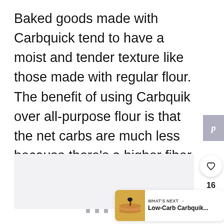Baked goods made with Carbquick tend to have a moist and tender texture like those made with regular flour. The benefit of using Carbquik over all-purpose flour is that the net carbs are much less because there’s a higher fiber content.
[Figure (screenshot): UI elements: Pinterest save button, heart/like button with count 16, share button, and a 'What's Next' card showing Low-Carb Carbquik... with a pancake image thumbnail. Gray image placeholder area in background.]